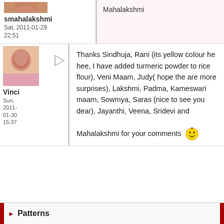[Figure (photo): Small avatar photo cropped at top]
smahalakshmi
Sat, 2011-01-29 22:51
Mahalakshmi
[Figure (photo): Avatar photo of Vinci, a woman in pink]
Vinci
Sun, 2011-01-30 15:37
Thanks Sindhuja, Rani (its yellow colour he hee, I have added turmeric powder to rice flour), Veni Maam, Judy( hope the are more surprises), Lakshmi, Padma, Kameswari maam, Sowmya, Saras (nice to see you dear), Jayanthi, Veena, Sridevi and Mahalakshmi for your comments 😊
Patterns